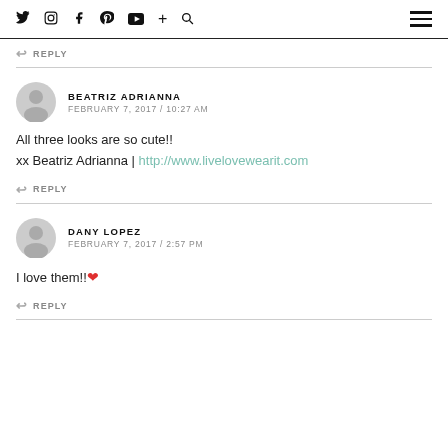Twitter Instagram Facebook Pinterest YouTube + Search [hamburger menu]
↩ REPLY
BEATRIZ ADRIANNA
FEBRUARY 7, 2017 / 10:27 AM
All three looks are so cute!!
xx Beatriz Adrianna | http://www.livelovewearit.com
↩ REPLY
DANY LOPEZ
FEBRUARY 7, 2017 / 2:57 PM
I love them!! ❤
↩ REPLY